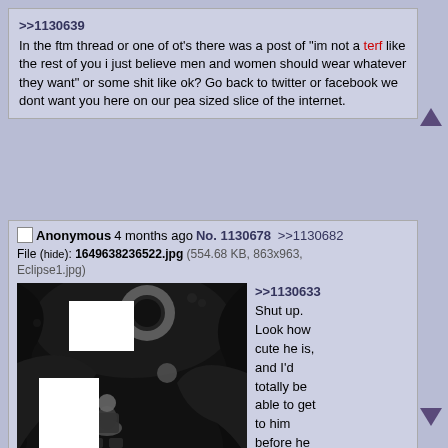>>1130639
In the ftm thread or one of ot's there was a post of "im not a terf like the rest of you i just believe men and women should wear whatever they want" or some shit like ok? Go back to twitter or facebook we dont want you here on our pea sized slice of the internet.
Anonymous 4 months ago No. 1130678 >>1130682
File (hide): 1649638236522.jpg (554.68 KB, 863x963, Eclipse1.jpg)
[Figure (illustration): Black and white detailed illustration showing a figure in armor kneeling on rocky ground beneath a solar eclipse. Swirling dark imagery with skulls and tentacle-like forms surround the scene. Two white censored/redacted areas are visible in the image. Text at bottom reads 'THE CASTLE END'.]
>>1130633
Shut up. Look how cute he is, and I'd totally be able to get to him before he causes the Eclipse